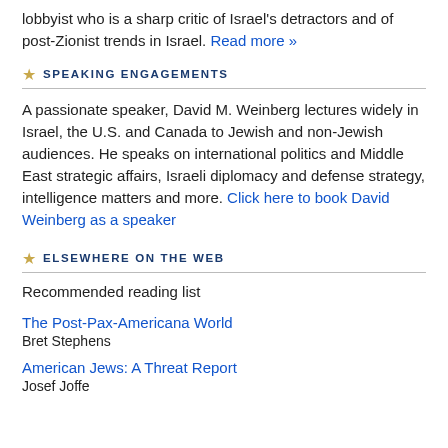lobbyist who is a sharp critic of Israel's detractors and of post-Zionist trends in Israel. Read more »
SPEAKING ENGAGEMENTS
A passionate speaker, David M. Weinberg lectures widely in Israel, the U.S. and Canada to Jewish and non-Jewish audiences. He speaks on international politics and Middle East strategic affairs, Israeli diplomacy and defense strategy, intelligence matters and more. Click here to book David Weinberg as a speaker
ELSEWHERE ON THE WEB
Recommended reading list
The Post-Pax-Americana World
Bret Stephens
American Jews: A Threat Report
Josef Joffe